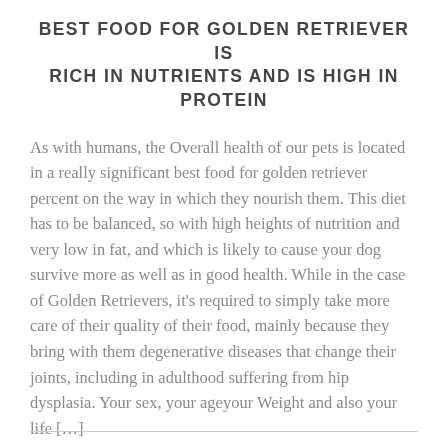BEST FOOD FOR GOLDEN RETRIEVER IS RICH IN NUTRIENTS AND IS HIGH IN PROTEIN
As with humans, the Overall health of our pets is located in a really significant best food for golden retriever percent on the way in which they nourish them. This diet has to be balanced, so with high heights of nutrition and very low in fat, and which is likely to cause your dog survive more as well as in good health. While in the case of Golden Retrievers, it's required to simply take more care of their quality of their food, mainly because they bring with them degenerative diseases that change their joints, including in adulthood suffering from hip dysplasia. Your sex, your ageyour Weight and also your life […]